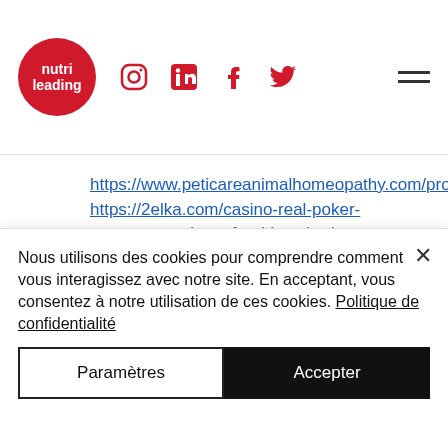[Figure (logo): Nutrileading logo - red circle with white text 'nutri leading' and social media icons (Instagram, LinkedIn, Facebook, Twitter) plus hamburger menu]
https://www.peticareanimalhomeopathy.com/profile/iravanstone1992/profile
https://2elka.com/casino-real-poker-tournament-slots-of-gold-casino/
https://www.cosphere.net/profile/lucindasammartano1984/profile
https://www.speakourtruth.org/profile/tandyruell1984/profile
Nous utilisons des cookies pour comprendre comment vous interagissez avec notre site. En acceptant, vous consentez à notre utilisation de ces cookies. Politique de confidentialité